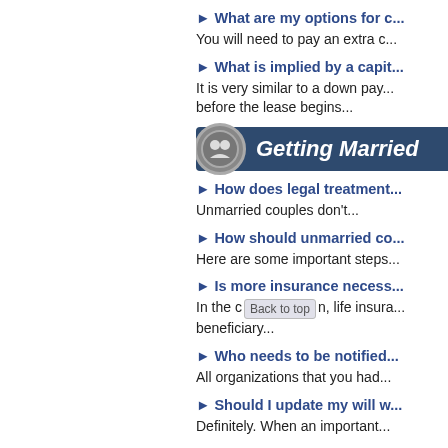► What are my options for c...
You will need to pay an extra c...
► What is implied by a capit...
It is very similar to a down pay... before the lease begins...
Getting Married
► How does legal treatment...
Unmarried couples don't...
► How should unmarried co...
Here are some important steps...
► Is more insurance necess...
In the case of death, life insura... beneficiary...
► Who needs to be notified...
All organizations that you had...
► Should I update my will w...
Definitely. When an important...
► After marriage, what are t...